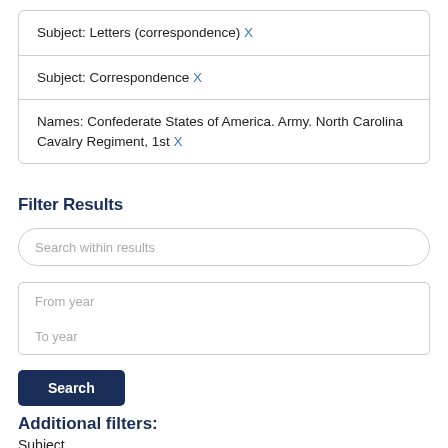Subject: Letters (correspondence) X
Subject: Correspondence X
Names: Confederate States of America. Army. North Carolina Cavalry Regiment, 1st X
Filter Results
Search within results
From year
To year
Search
Additional filters:
Subject